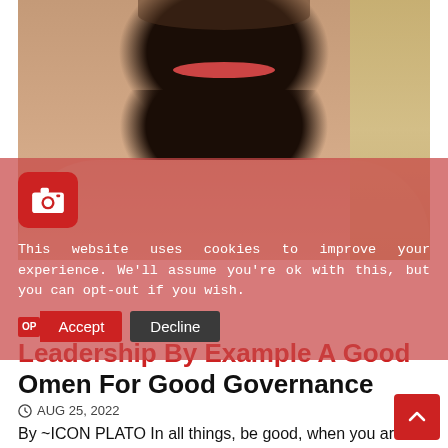[Figure (photo): Close-up photo of a man with a beard, smiling, wearing a light-colored robe/clothing, shown from shoulders up]
This website uses cookies to improve your experience. We'll assume you're ok with this, but you can opt-out if you wish.
Accept  Decline
Leadership By Example A Good Omen For Good Governance
AUG 25, 2022
By ~ICON PLATO In all things, be good, when you are good you will reap it and it's vice-versa. The term 'leadership' is a good statement only when the